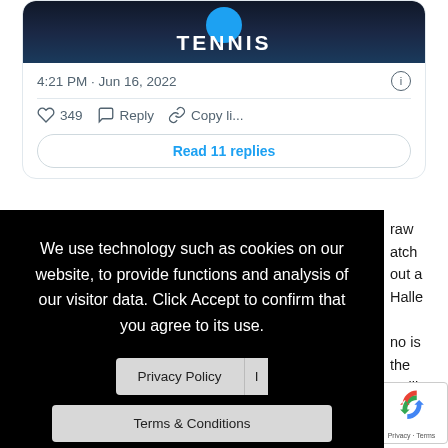[Figure (screenshot): Twitter/X embedded card showing Tennis account with blue circle logo, tweet timestamp 4:21 PM · Jun 16, 2022, 349 likes, Reply, Copy link actions, and Read 11 replies button]
Tsitsipas enters the Mallorca draw ... atch ... out a ... Halle
[Figure (screenshot): Cookie consent overlay with black background saying: We use technology such as cookies on our website, to provide functions and analysis of our visitor data. Click Accept to confirm that you agree to its use. Buttons: Privacy Policy | I, Terms & Conditions, ACCEPT]
no is ... the ... , will ... be
[Figure (screenshot): reCAPTCHA badge showing recycling arrows logo and text Privacy · Terms]
The 26 year old has also signalled his